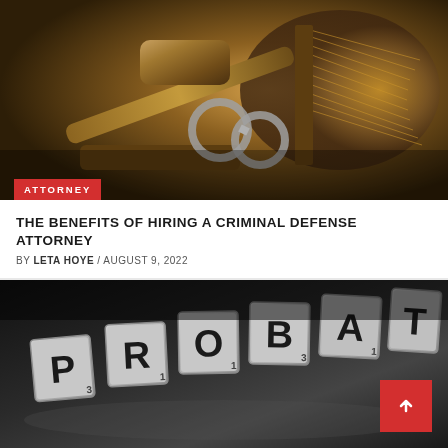[Figure (photo): Court gavel with handcuffs and law books on a wooden surface, dramatic warm lighting]
ATTORNEY
THE BENEFITS OF HIRING A CRIMINAL DEFENSE ATTORNEY
BY LETA HOYE / AUGUST 9, 2022
[Figure (photo): Scrabble tiles spelling PROBA (partial word, likely PROBATE or PROBATION) on a dark surface, black and white photography]